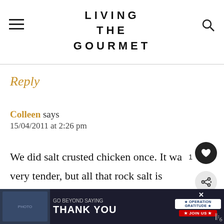LIVING THE GOURMET
Reply
Colleen says
15/04/2011 at 2:26 pm
We did salt crusted chicken once. It wa very tender, but all that rock salt is expensive, and then you just tra like this idea a lot beter.
[Figure (other): Advertisement banner: GO BEYOND SAYING THANK YOU - Operation Gratitude JOIN US]
WHAT'S NEXT → Braised Chuck Roast